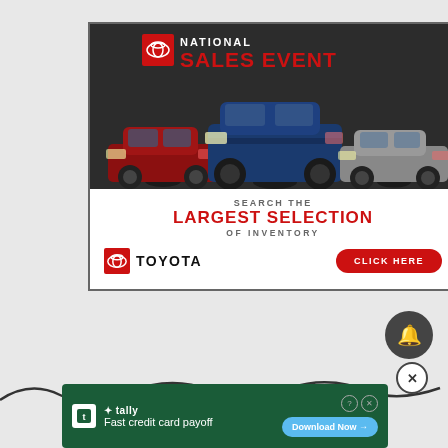[Figure (illustration): Toyota National Sales Event advertisement banner. Dark background with three Toyota vehicles (red sedan on left, blue SUV in center, silver sedan on right). White text 'NATIONAL' and red text 'SALES EVENT' at top with Toyota logo. Below: 'SEARCH THE LARGEST SELECTION OF INVENTORY' text with Toyota logo and 'CLICK HERE' red button.]
[Figure (illustration): Dark circular bell/notification icon in bottom-right area of page.]
[Figure (illustration): Tally app advertisement: dark green banner with Tally logo, text 'Fast credit card payoff' and 'Download Now' button with arrow. Question mark and X close icons in top right.]